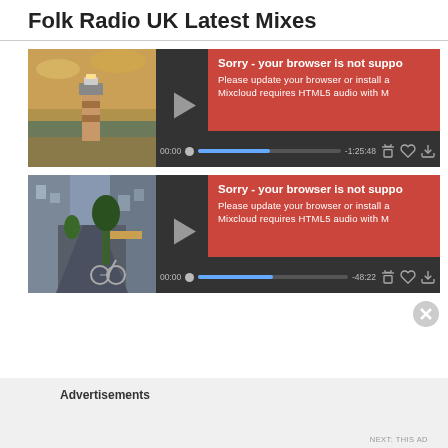Folk Radio UK Latest Mixes
[Figure (screenshot): Mixcloud audio player with lighthouse thumbnail image and error overlay saying 'Sorry - your browser is not supported'. Progress bar shows 00:00 / -1:25:48.]
[Figure (screenshot): Mixcloud audio player with street alley thumbnail image and error overlay saying 'Sorry - your browser is not supported'. Progress bar shows 00:00 / -48:22.]
Advertisements